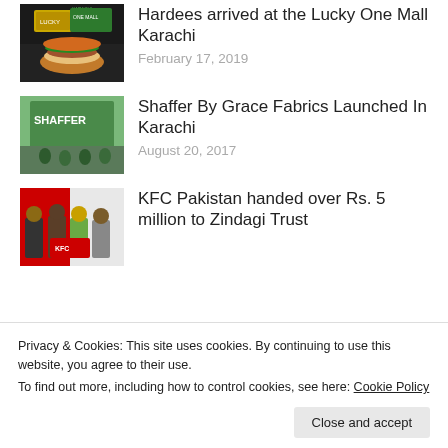[Figure (photo): Hardees food item with Karachi Lucky One Mall branding]
Hardees arrived at the Lucky One Mall Karachi
February 17, 2019
[Figure (photo): Shaffer By Grace Fabrics store front in Karachi with green decor]
Shaffer By Grace Fabrics Launched In Karachi
August 20, 2017
[Figure (photo): KFC Pakistan handing over cheque to Zindagi Trust representatives]
KFC Pakistan handed over Rs. 5 million to Zindagi Trust
Privacy & Cookies: This site uses cookies. By continuing to use this website, you agree to their use.
To find out more, including how to control cookies, see here: Cookie Policy